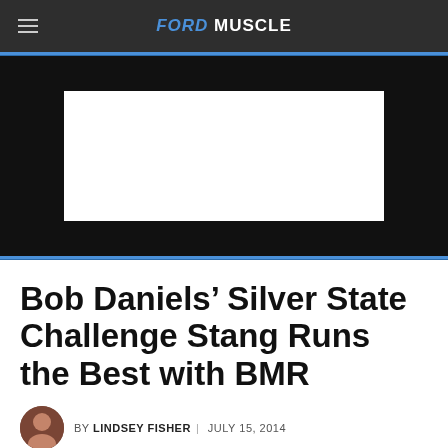FORD MUSCLE
[Figure (other): Advertisement banner placeholder — white rectangle on black background]
Bob Daniels’ Silver State Challenge Stang Runs the Best with BMR
By LINDSEY FISHER | JULY 15, 2014